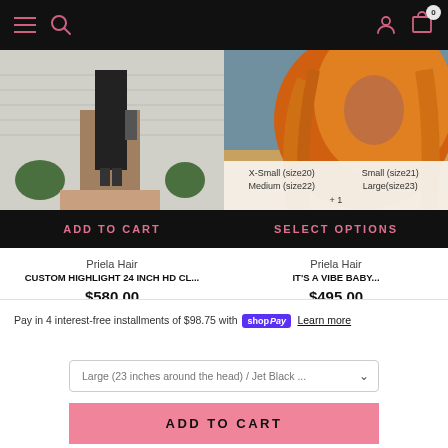Navigation bar with menu, search, user, cart (0)
[Figure (photo): Person standing outside house doorway wearing black outfit with heels, product photo for hair extension item]
[Figure (photo): Woman with long orange/auburn wig hair, product photo showing hair color; overlaid with size options: X-Small (size20), Small (size21), Medium (size22), Large(size23), +1]
ADD TO CART
SELECT OPTIONS
Priela Hair
CUSTOM HIGHLIGHT 24 INCH HD CL...
$580.00
Priela Hair
IT'S A VIBE BABY...
$495.00
Pay in 4 interest-free installments of $98.75 with Shop Pay Learn more
Large (23 inches around the head) / Jet Black ...
ADD TO CART